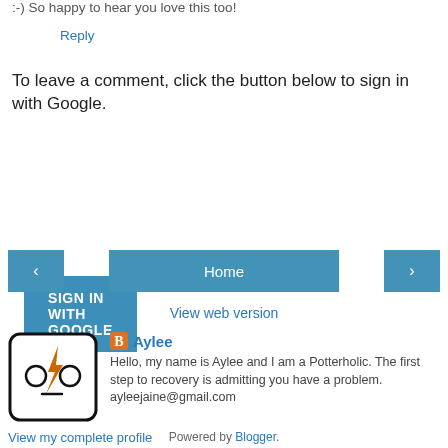:-) So happy to hear you love this too!
Reply
To leave a comment, click the button below to sign in with Google.
SIGN IN WITH GOOGLE
‹
Home
›
View web version
[Figure (illustration): Blogger profile avatar: a cartoon robot face with two circle eyes, a dash mouth, and a lightning bolt, in a rounded square frame]
Aylee
Hello, my name is Aylee and I am a Potterholic. The first step to recovery is admitting you have a problem. ayleejaine@gmail.com
View my complete profile
Powered by Blogger.